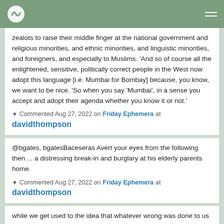[Logo] [Navigation menu]
zealots to raise their middle finger at the national government and religious minorities, and ethnic minorities, and linguistic minorities, and foreigners, and especially to Muslims. ‘And so of course all the enlightened, sensitive, politically correct people in the West now adopt this language [i.e. Mumbai for Bombay] because, you know, we want to be nice. ‘So when you say ‘Mumbai’, in a sense you accept and adopt their agenda whether you know it or not.’
▼ Commented Aug 27, 2022 on Friday Ephemera at davidthompson
@bgates, bgatesBaceseras Avert your eyes from the following then ... a distressing break-in and burglary at his elderly parents home.
▼ Commented Aug 27, 2022 on Friday Ephemera at davidthompson
while we get used to the idea that whatever wrong was done to us will most likely go unpunished There’s a discussion of pretty much exactly in the Triggernometry interview with Harry Miller. It starts here, at 31.36, when Francis Foster describes the Police response, or rather